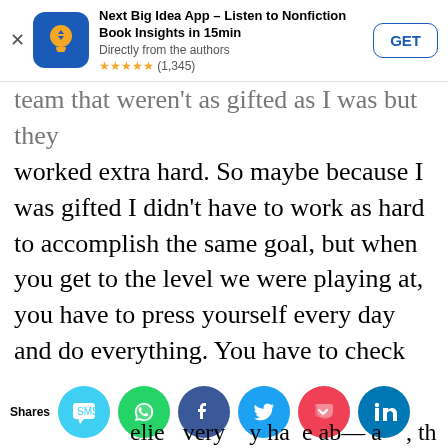[Figure (screenshot): App store ad banner for 'Next Big Idea App - Listen to Nonfiction Book Insights in 15min'. Shows app icon (blue with yellow lightbulb), title, subtitle 'Directly from the authors', star rating 4.5 stars (1,345 reviews), and a GET button.]
team that weren't as gifted as I was but they worked extra hard. So maybe because I was gifted I didn't have to work as hard to accomplish the same goal, but when you get to the level we were playing at, you have to press yourself every day and do everything. You have to check every single box every single day in order to just maintain. Then there's this thing that I call mentality, the “it factor” that makes a difference between getting to the top and staying there, or just being average and cruising.
[Figure (screenshot): Social media sharing bar at the bottom with share icons: SMS (blue), WhatsApp (green), Facebook (navy), Twitter (teal), Pocket (red), LinkedIn (dark blue). Label 'Shares' on left. Partially visible bottom text line.]